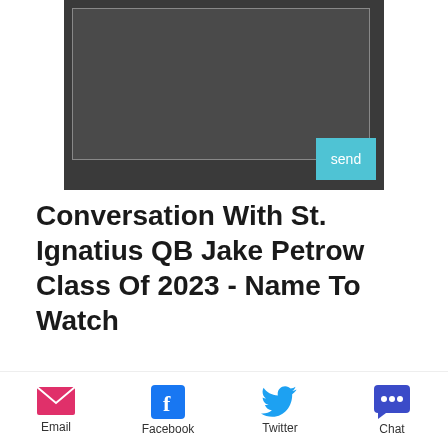[Figure (screenshot): Dark chat/message compose area with a text input box and a cyan 'send' button in the bottom right corner]
Conversation With St. Ignatius QB Jake Petrow Class Of 2023 - Name To Watch
[Figure (photo): Partially visible dark photo at the bottom of the page]
Email
Facebook
Twitter
Chat